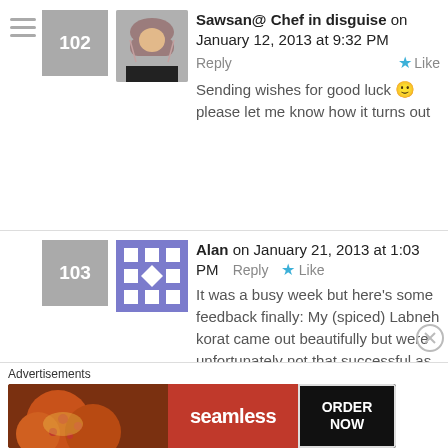102
[Figure (photo): Profile photo of Sawsan, a woman wearing a hijab]
Sawsan@ Chef in disguise on January 12, 2013 at 9:32 PM
Reply  ★ Like
Sending wishes for good luck 🙂 please let me know how it turns out
103
[Figure (illustration): Blue/gray geometric pattern avatar with white squares and diamonds]
Alan on January 21, 2013 at 1:03 PM  Reply  ★ Like
It was a busy week but here's some feedback finally: My (spiced) Labneh korat came out beautifully but were unfortunately not that successful as a cocktail kebab component due to there softness.
Advertisements
[Figure (screenshot): Seamless food delivery advertisement banner with pizza image and ORDER NOW button]